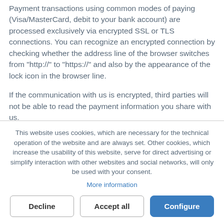Payment transactions using common modes of paying (Visa/MasterCard, debit to your bank account) are processed exclusively via encrypted SSL or TLS connections. You can recognize an encrypted connection by checking whether the address line of the browser switches from “http://” to “https://” and also by the appearance of the lock icon in the browser line.
If the communication with us is encrypted, third parties will not be able to read the payment information you share with us.
This website uses cookies, which are necessary for the technical operation of the website and are always set. Other cookies, which increase the usability of this website, serve for direct advertising or simplify interaction with other websites and social networks, will only be used with your consent.
More information